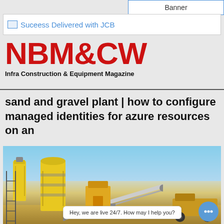Banner
[Figure (screenshot): Suceess Delivered with JCB advertisement banner]
[Figure (logo): NBM&CW Infra Construction & Equipment Magazine logo in red bold lettering]
sand and gravel plant | how to configure managed identities for azure resources on an
[Figure (photo): Photograph of a sand and gravel plant with yellow silos and conveyor belts under a blue sky]
Hey, we are live 24/7. How may I help you?